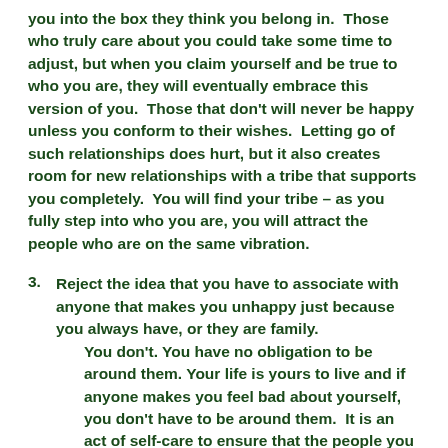you into the box they think you belong in.  Those who truly care about you could take some time to adjust, but when you claim yourself and be true to who you are, they will eventually embrace this version of you.  Those that don't will never be happy unless you conform to their wishes.  Letting go of such relationships does hurt, but it also creates room for new relationships with a tribe that supports you completely.  You will find your tribe – as you fully step into who you are, you will attract the people who are on the same vibration.
3. Reject the idea that you have to associate with anyone that makes you unhappy just because you always have, or they are family.
You don't. You have no obligation to be around them. Your life is yours to live and if anyone makes you feel bad about yourself, you don't have to be around them.  It is an act of self-care to ensure that the people you give your time to,